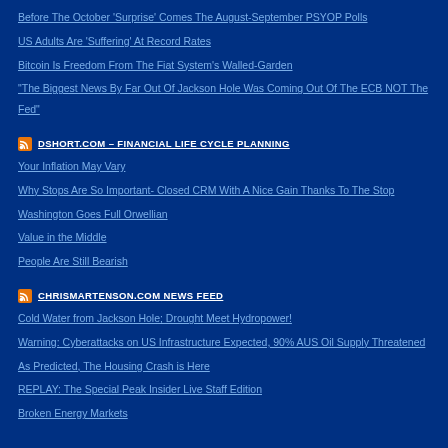Before The October 'Surprise' Comes The August-September PSYOP Polls
US Adults Are 'Suffering' At Record Rates
Bitcoin Is Freedom From The Fiat System's Walled-Garden
"The Biggest News By Far Out Of Jackson Hole Was Coming Out Of The ECB NOT The Fed"
DSHORT.COM – FINANCIAL LIFE CYCLE PLANNING
Your Inflation May Vary
Why Stops Are So Important- Closed CRM With A Nice Gain Thanks To The Stop
Washington Goes Full Orwellian
Value in the Middle
People Are Still Bearish
CHRISMARTENSON.COM NEWS FEED
Cold Water from Jackson Hole; Drought Meet Hydropower!
Warning: Cyberattacks on US Infrastructure Expected, 90% AUS Oil Supply Threatened
As Predicted, The Housing Crash is Here
REPLAY: The Special Peak Insider Live Staff Edition
Broken Energy Markets